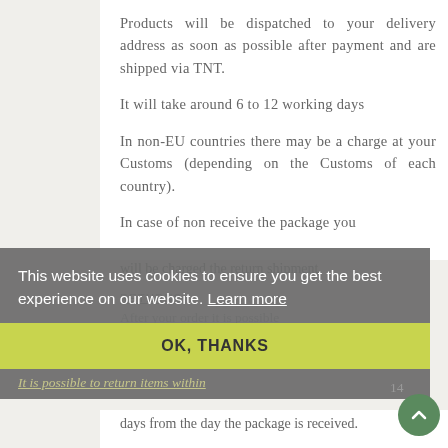Products will be dispatched to your delivery address as soon as possible after payment and are shipped via TNT.
It will take around 6 to 12 working days
In non-EU countries there may be a charge at your Customs (depending on the Customs of each country).
In case of non receive the package you will be charged the return shipment.
RETURNS
This website uses cookies to ensure you get the best experience on our website. Learn more
After your order it is possible if the package have not been sent.
OK, THANKS
It is possible to return items within 14 days from the day the package is received.